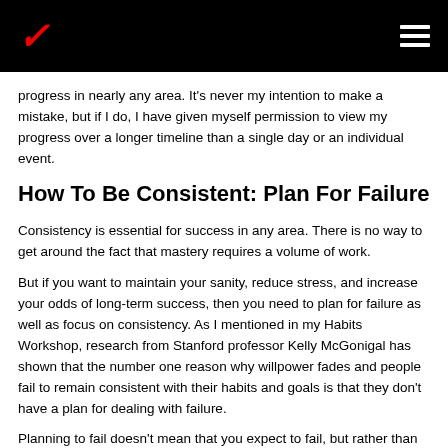Verizon logo and hamburger menu
progress in nearly any area. It's never my intention to make a mistake, but if I do, I have given myself permission to view my progress over a longer timeline than a single day or an individual event.
How To Be Consistent: Plan For Failure
Consistency is essential for success in any area. There is no way to get around the fact that mastery requires a volume of work.
But if you want to maintain your sanity, reduce stress, and increase your odds of long-term success, then you need to plan for failure as well as focus on consistency. As I mentioned in my Habits Workshop, research from Stanford professor Kelly McGonigal has shown that the number one reason why willpower fades and people fail to remain consistent with their habits and goals is that they don't have a plan for dealing with failure.
Planning to fail doesn't mean that you expect to fail, but rather than you know what you will do and how you will get back on track when things